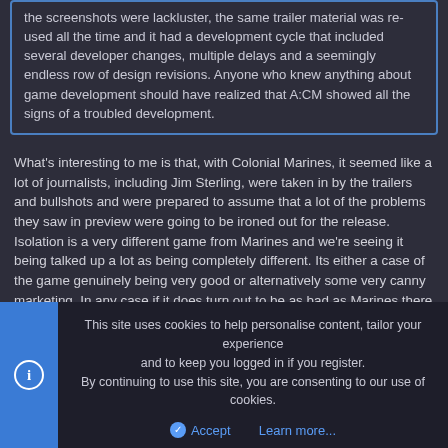the screenshots were lackluster, the same trailer material was re-used all the time and it had a development cycle that included several developer changes, multiple delays and a seemingly endless row of design revisions. Anyone who knew anything about game development should have realized that A:CM showed all the signs of a troubled development.
What's interesting to me is that, with Colonial Marines, it seemed like a lot of journalists, including Jim Sterling, were taken in by the trailers and bullshots and were prepared to assume that a lot of the problems they saw in preview were going to be ironed out for the release. Isolation is a very different game from Marines and we're seeing it being talked up a lot as being completely different. Its either a case of the game genuinely being very good or alternatively some very canny marketing. In any case if it does turn out to be as bad as Marines there should probably be some questions asked about how much optimism journalists should report previews with. I hope that doesn't happen (again).
This site uses cookies to help personalise content, tailor your experience and to keep you logged in if you register.
By continuing to use this site, you are consenting to our use of cookies.